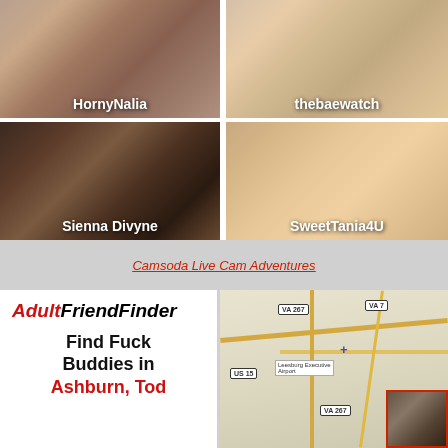[Figure (photo): Grid of four webcam performer thumbnails. Top-left: HornyNalia. Top-right: thebaewatch. Bottom-left: Sienna Divyne. Bottom-right: SweetTania4U.]
Camsoda Live Cam Adventures
[Figure (photo): AdultFriendFinder advertisement with logo and text 'Find Fuck Buddies in Ashburn, Today']
[Figure (map): Map showing Leesburg Executive Airport area with VA 267, VA 7, US 15 road markers and a small photo overlay]